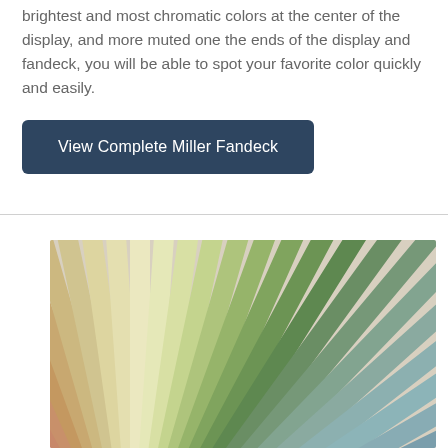brightest and most chromatic colors at the center of the display, and more muted one the ends of the display and fandeck, you will be able to spot your favorite color quickly and easily.
View Complete Miller Fandeck
[Figure (photo): A fanned-out color swatch deck showing a wide spectrum of paint colors from deep reds and terracottas on the left, through warm tans and creamy yellows in the center, to sage greens and muted blue-greens on the right.]